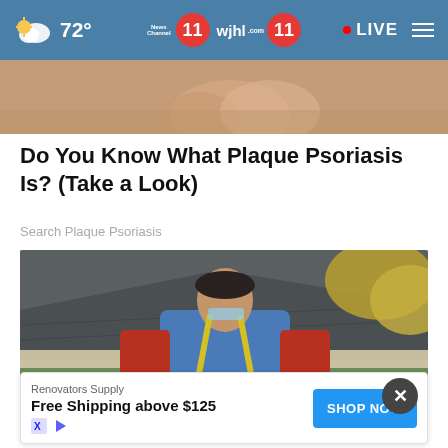72° News Channel 11 wjhl.com 11 • LIVE
[Figure (photo): Close-up photo of a person's skin/foot area on a wooden surface, used as teaser image for psoriasis article]
Do You Know What Plaque Psoriasis Is? (Take a Look)
Search Plaque Psoriasis
[Figure (photo): Worker carrying GAF Timberline HD roofing shingles on a residential rooftop, wearing blue shirt with yellow safety harness and red sleeves with gloves]
Renovators Supply
Free Shipping above $125
SHOP NOW